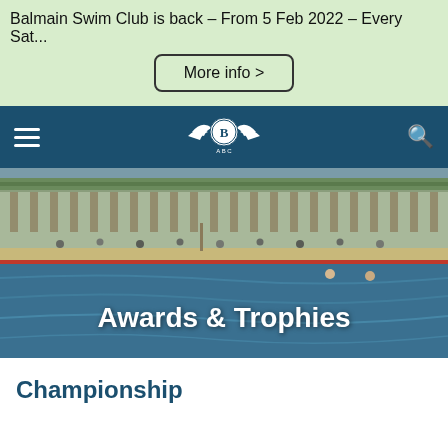Balmain Swim Club is back – From 5 Feb 2022 – Every Sat...
More info >
[Figure (logo): Balmain Swim Club logo with wings and letter B, ABC text below]
[Figure (photo): Outdoor swimming pool/harbour bath with grandstand/building in background, people visible, water in foreground]
Awards & Trophies
Championship